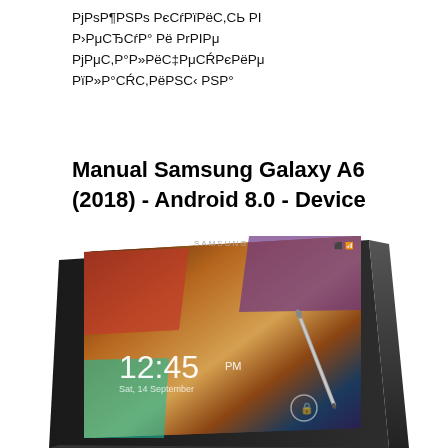PjPsP¶PSPs PєCŕPïPëC,CЬ PI P›PμCЂCŕP° Pë PrPIPμ PjPμC,P°P»PëC‡PμCŔPєPëPμ PïP»P°CŔC,PëPSC‹ PSP°
Manual Samsung Galaxy A6 (2018) - Android 8.0 - Device
[Figure (photo): Samsung Galaxy tablet (Note-style) shown at an angle, displaying a lock screen with time 12:45 PM and a nature/wood background image. A stylus pen is visible on the screen. The tablet has a black bezel with SAMSUNG branding.]